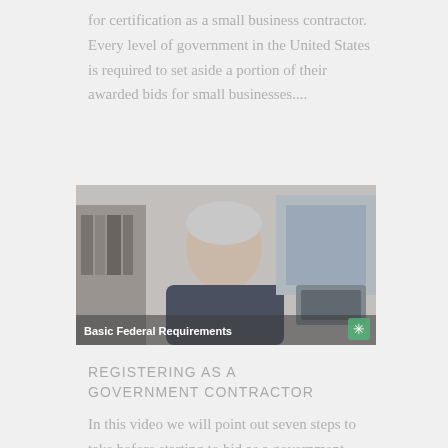for certification as a small business contractor. Every level of government in the United States is required to set aside a portion of their awarded bids for small businesses....
[Figure (screenshot): Video thumbnail showing a middle-aged man with grey hair in a dark jacket, sitting in an office. At the bottom left of the image, bold white text reads 'Basic Federal Requirements'. A small star/asterisk icon appears at the bottom right.]
REGISTERING AS A GOVERNMENT CONTRACTOR
In this video we will point out seven steps to take before starting to bid as a government